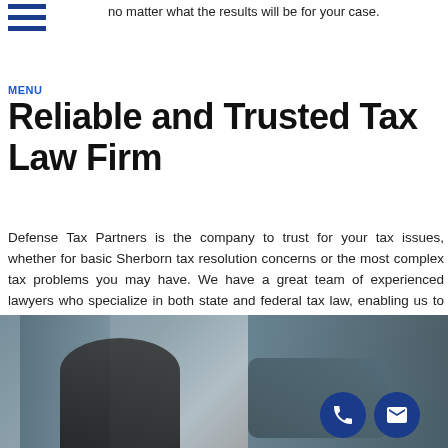no matter what the results will be for your case.
MENU
Reliable and Trusted Tax Law Firm
Defense Tax Partners is the company to trust for your tax issues, whether for basic Sherborn tax resolution concerns or the most complex tax problems you may have. We have a great team of experienced lawyers who specialize in both state and federal tax law, enabling us to build great strategies to resolve your tax problems and adjust them if necessary.
[Figure (photo): Photo of a businessman smiling and shaking hands with another person, with tall glass buildings in the background, viewed from a low angle. Two circular icon buttons (phone and email) are overlaid at the bottom right of the image.]